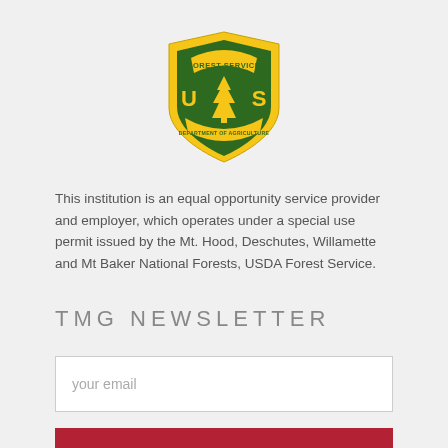[Figure (logo): USDA Forest Service shield logo — green and yellow shield with 'FOREST SERVICE' at top, 'U-S' letters with pine tree in center, 'DEPARTMENT OF AGRICULTURE' around bottom edge.]
This institution is an equal opportunity service provider and employer, which operates under a special use permit issued by the Mt. Hood, Deschutes, Willamette and Mt Baker National Forests, USDA Forest Service.
TMG NEWSLETTER
your email
>